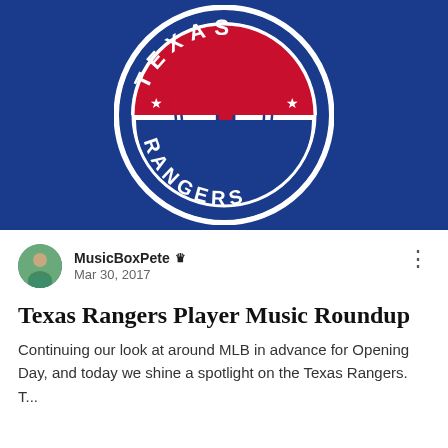[Figure (logo): Texas Rangers MLB logo: navy blue rectangular background with the circular Texas Rangers logo centered. The logo features concentric circles with 'TEXAS' arched on top in white on a red band with stars, 'RANGERS' arched on the bottom in white, a large white baseball overlaid with a bold red and blue 'T' letter in the center.]
MusicBoxPete ▲
Mar 30, 2017
Texas Rangers Player Music Roundup
Continuing our look at around MLB in advance for Opening Day, and today we shine a spotlight on the Texas Rangers. T...